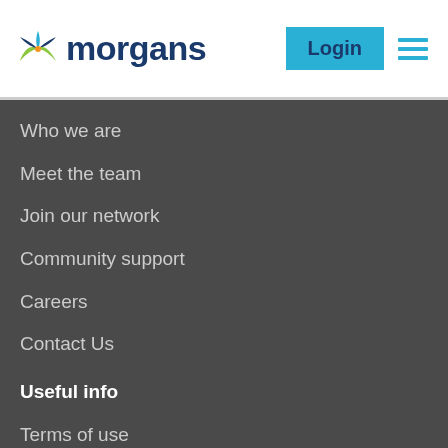[Figure (logo): Morgans logo with colorful butterfly/star icon and dark blue text]
Who we are
Meet the team
Join our network
Community support
Careers
Contact Us
Useful info
Terms of use
Privacy policy
Forms & downloads
Client account access